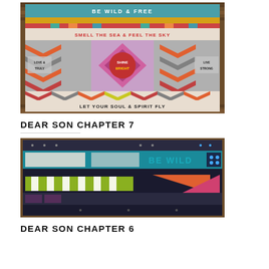[Figure (photo): Colorful quilt with geometric patterns and text reading 'BE WILD & FREE', 'SMELL THE SEA & FEEL THE SKY', 'LOVE TRULY', 'SHINE BRIGHT', 'LIVE STRONG', 'LET YOUR SOUL & SPIRIT FLY'. The quilt features chevron patterns in orange, red, grey, and multicolor fabrics hung on a wooden wall.]
DEAR SON CHAPTER 7
[Figure (photo): Colorful quilt with horizontal stripe and geometric block patterns featuring text 'BE WILD'. Colors include teal, dark navy, yellow-green, pink, and orange. The quilt is displayed on a wooden surface.]
DEAR SON CHAPTER 6